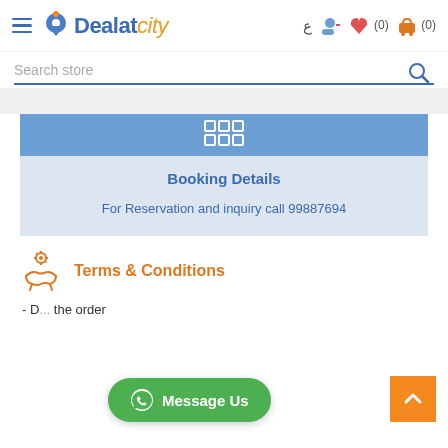[Figure (screenshot): Dealatcity website navbar with hamburger menu, logo, Arabic character, user/wishlist/cart icons]
Search store
Booking Details
For Reservation and inquiry call 99887694
Terms & Conditions
- D... the order
[Figure (other): Message Us WhatsApp button (green rounded)]
[Figure (other): Back to top orange button with up arrow]